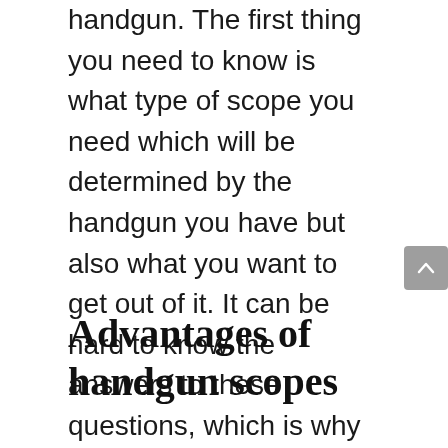handgun. The first thing you need to know is what type of scope you need which will be determined by the handgun you have but also what you want to get out of it. It can be hard to know the answers to these questions, which is why we've developed a buying guide that will give you all the info you need. We'll also finish with some FAQs that should clear up any lasting doubts.
Advantages of handgun scopes